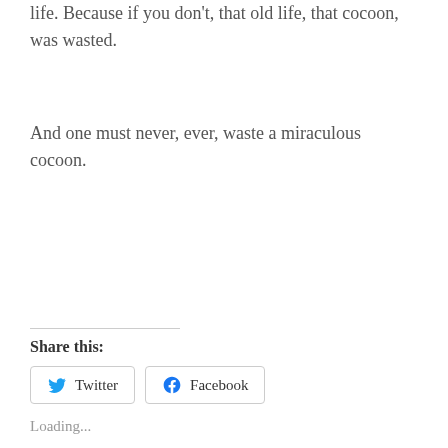life.  Because if you don't, that old life, that cocoon, was wasted.
And one must never, ever, waste a miraculous cocoon.
Share this:
Twitter
Facebook
Loading...